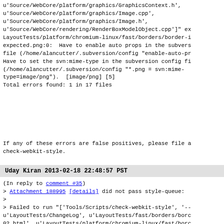u'Source/WebCore/platform/graphics/GraphicsContext.h',
u'Source/WebCore/platform/graphics/Image.cpp',
u'Source/WebCore/platform/graphics/Image.h',
u'Source/WebCore/rendering/RenderBoxModelObject.cpp']" ex
LayoutTests/platform/chromium-linux/fast/borders/border-i
expected.png:0:  Have to enable auto props in the subvers
file (/home/alancutter/.subversion/config "enable-auto-pr
Have to set the svn:mime-type in the subversion config fi
(/home/alancutter/.subversion/config "*.png = svn:mime-
type=image/png").  [image/png] [5]
Total errors found: 1 in 17 files
If any of these errors are false positives, please file a
check-webkit-style.
Uday Kiran    2013-02-18 22:48:57 PST
(In reply to comment #35)
> Attachment 188995 [details] did not pass style-queue:
>
> Failed to run "['Tools/Scripts/check-webkit-style', '--
u'LayoutTests/ChangeLog', u'LayoutTests/fast/borders/borc
02.html', u'LayoutTests/platform/chromium-linux/fast/borc
image-02-expected.png',
u'LayoutTests/platform/chromium/TestExpectations',
u'LayoutTests/platform/chromium/fast/borders/border-image
expected.txt', u'LayoutTests/platform/efl/TestExpectation
u'LayoutTests/platform/gtk/fast/borders/border-image-02-